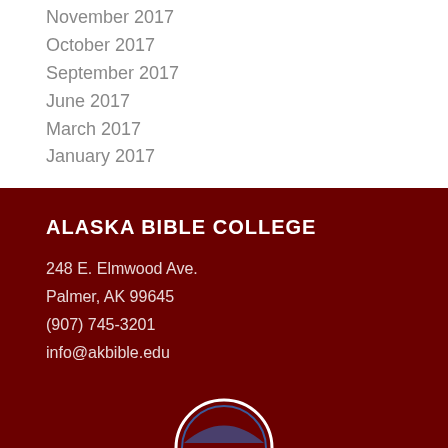November 2017
October 2017
September 2017
June 2017
March 2017
January 2017
ALASKA BIBLE COLLEGE
248 E. Elmwood Ave.
Palmer, AK 99645
(907) 745-3201
info@akbible.edu
[Figure (logo): Alaska Bible College circular logo, partially visible at bottom]